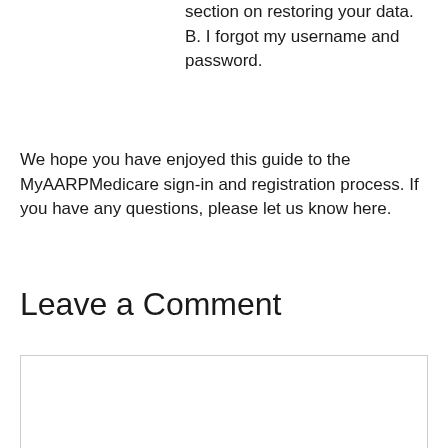section on restoring your data. B. I forgot my username and password.
We hope you have enjoyed this guide to the MyAARPMedicare sign-in and registration process. If you have any questions, please let us know here.
Leave a Comment
[Figure (other): Empty comment text input box with light border]